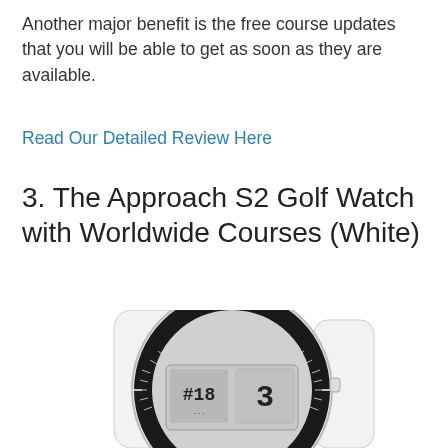Another major benefit is the free course updates that you will be able to get as soon as they are available.
Read Our Detailed Review Here
3. The Approach S2 Golf Watch with Worldwide Courses (White)
[Figure (photo): White Garmin Approach S2 golf GPS watch showing a round white watch face with black bezel, displaying '#18' and '3' on its LCD screen, with 'GARMIN' text on the bezel.]